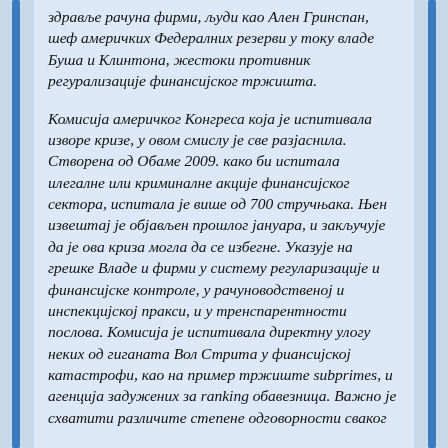здравље рачуна фирми, људи као Ален Гринспан, шеф америчких Федералних резерви у току владе Буша и Клинтона, жестоки противник регурализације финансијског тржишта.

Комисија америчког Конгреса која је испитивала изворе кризе, у овом смислу је све разјаснила. Створена од Обаме 2009. како би испитала илегалне или криминалне акције финансијског сектора, испитала је више од 700 стручњака. Њен извештај је објављен прошлог јануара, и закључује да је ова криза могла да се избегне. Указује на грешке Владе и фирми у систему регуларизације и финансијске контроле, у рачуноводственој и инспекцијској пракси, и у тренспарентности послова. Комисија је испитивала директну улогу неких од гиганата Вол Стрита у фиансијској катастрофи, као на пример тржиште subprimes, и агенција задужених за ranking обавезница. Важно је схватити различите степене одговорности сваког